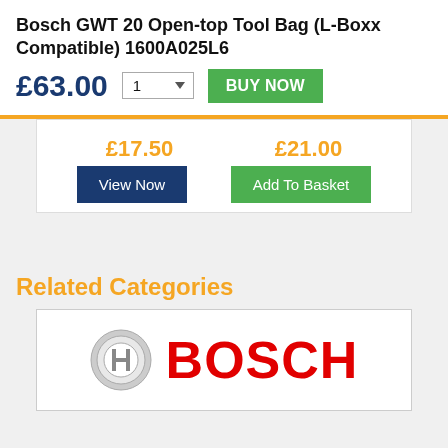Bosch GWT 20 Open-top Tool Bag (L-Boxx Compatible) 1600A025L6
£63.00
£17.50
£21.00
View Now
Add To Basket
Related Categories
[Figure (logo): Bosch brand logo: circular grey Bosch emblem alongside bold red BOSCH text]